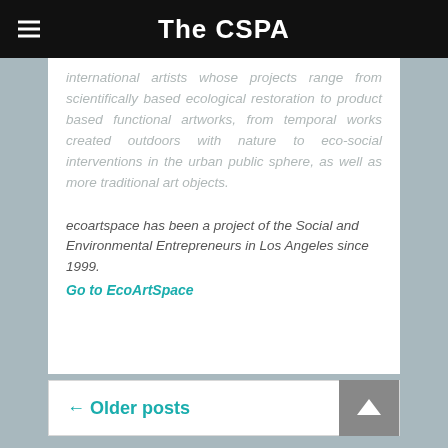The CSPA
international artists whose projects range from scientifically based ecological restoration to product based functional artworks, from temporal works created outdoors with nature to eco-social interventions in the urban public sphere, as well as more traditional art objects.
ecoartspace has been a project of the Social and Environmental Entrepreneurs in Los Angeles since 1999.
Go to EcoArtSpace
← Older posts